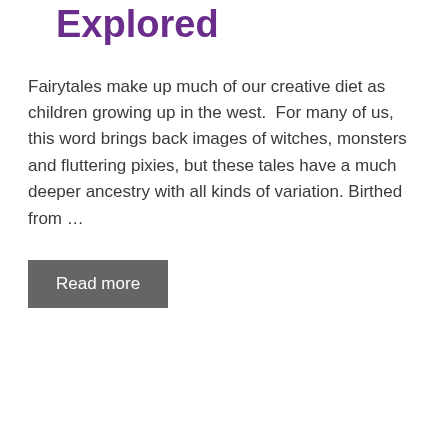Explored
Fairytales make up much of our creative diet as children growing up in the west.  For many of us, this word brings back images of witches, monsters and fluttering pixies, but these tales have a much deeper ancestry with all kinds of variation. Birthed from …
Read more